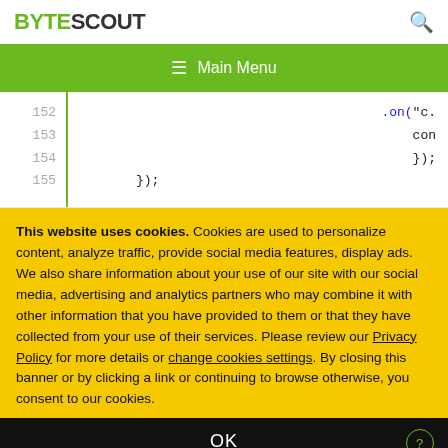BYTESCOUT
[Figure (screenshot): Navigation bar with hamburger menu icon and 'Main Menu' text on green background]
[Figure (screenshot): Code editor snippet showing line numbers 152-155 with code fragments .on('c..., con, });, });]
This website uses cookies. Cookies are used to personalize content, analyze traffic, provide social media features, display ads. We also share information about your use of our site with our social media, advertising and analytics partners who may combine it with other information that you have provided to them or that they have collected from your use of their services. Please review our Privacy Policy for more details or change cookies settings. By closing this banner or by clicking a link or continuing to browse otherwise, you consent to our cookies.
OK